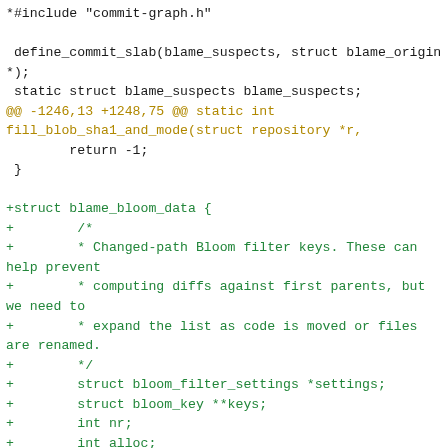Code diff showing addition of blame_bloom_data struct and related static variables in a C source file. Includes hunk header @@ -1246,13 +1248,75 @@ static int fill_blob_sha1_and_mode and new struct with bloom filter settings, keys, nr, alloc fields, plus static int declarations.